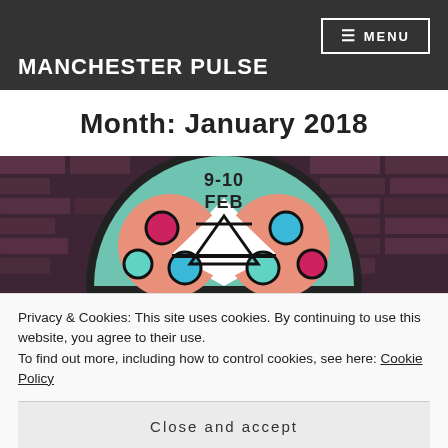MANCHESTER PULSE
Month: January 2018
[Figure (illustration): Stained glass style circular illustration with colorful circles and shapes, text '9-10 FEB' visible at top center, set against a dark brick-like background. Additional geometric shapes visible at the bottom.]
Privacy & Cookies: This site uses cookies. By continuing to use this website, you agree to their use.
To find out more, including how to control cookies, see here: Cookie Policy
Close and accept